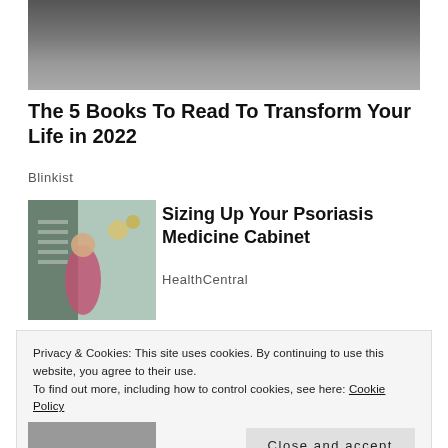[Figure (photo): Black and white close-up photo of a bearded man's face]
The 5 Books To Read To Transform Your Life in 2022
Blinkist
[Figure (photo): Woman in a plaid shirt browsing a pharmacy or grocery store aisle]
Sizing Up Your Psoriasis Medicine Cabinet
HealthCentral
Privacy & Cookies: This site uses cookies. By continuing to use this website, you agree to their use.
To find out more, including how to control cookies, see here: Cookie Policy
Close and accept